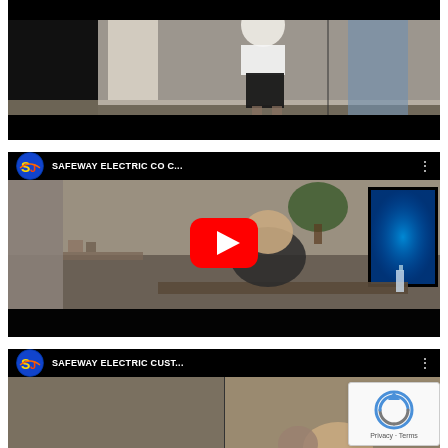[Figure (screenshot): Top YouTube video thumbnail (partially visible) showing two people standing, one in black shorts, dark background. No play button visible - appears cut off at top.]
[Figure (screenshot): YouTube embedded video player with title 'SAFEWAY ELECTRIC CO C...' and Safeway Electric logo. Scene shows office setting with a person seated at a desk with a monitor displaying blue light on the right. Red YouTube play button in center.]
[Figure (screenshot): YouTube embedded video player with title 'SAFEWAY ELECTRIC CUST...' and Safeway Electric logo. Scene shows a split thumbnail with a person visible at bottom. reCAPTCHA badge visible in lower right corner with 'Privacy · Terms' text.]